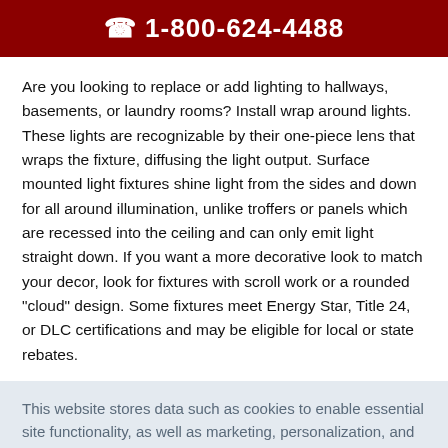☎ 1-800-624-4488
Are you looking to replace or add lighting to hallways, basements, or laundry rooms? Install wrap around lights. These lights are recognizable by their one-piece lens that wraps the fixture, diffusing the light output. Surface mounted light fixtures shine light from the sides and down for all around illumination, unlike troffers or panels which are recessed into the ceiling and can only emit light straight down. If you want a more decorative look to match your decor, look for fixtures with scroll work or a rounded "cloud" design. Some fixtures meet Energy Star, Title 24, or DLC certifications and may be eligible for local or state rebates.
This website stores data such as cookies to enable essential site functionality, as well as marketing, personalization, and analytics. By remaining on this website you indicate your consent. Privacy Policy